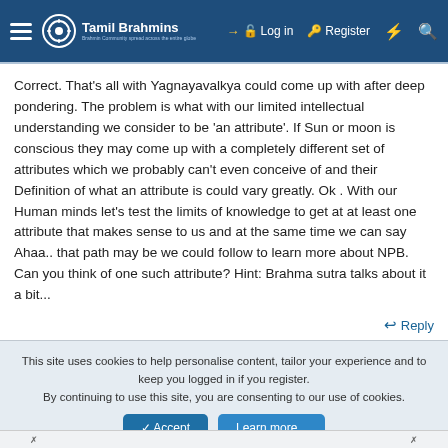Tamil Brahmins — Log in | Register
Correct. That's all with Yagnayavalkya could come up with after deep pondering. The problem is what with our limited intellectual understanding we consider to be 'an attribute'. If Sun or moon is conscious they may come up with a completely different set of attributes which we probably can't even conceive of and their Definition of what an attribute is could vary greatly. Ok . With our Human minds let's test the limits of knowledge to get at at least one attribute that makes sense to us and at the same time we can say Ahaa.. that path may be we could follow to learn more about NPB. Can you think of one such attribute? Hint: Brahma sutra talks about it a bit...
Reply
This site uses cookies to help personalise content, tailor your experience and to keep you logged in if you register.
By continuing to use this site, you are consenting to our use of cookies.
Accept | Learn more...